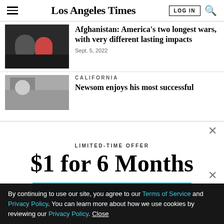Los Angeles Times
[Figure (photo): Dark photo of people, possibly in a conflict zone]
Afghanistan: America's two longest wars, with very different lasting impacts
Sept. 5, 2022
[Figure (photo): Photo of a man in a suit, possibly a politician]
CALIFORNIA
Newsom enjoys his most successful
LIMITED-TIME OFFER
$1 for 6 Months
SUBSCRIBE NOW
By continuing to use our site, you agree to our Terms of Service and Privacy Policy. You can learn more about how we use cookies by reviewing our Privacy Policy. Close